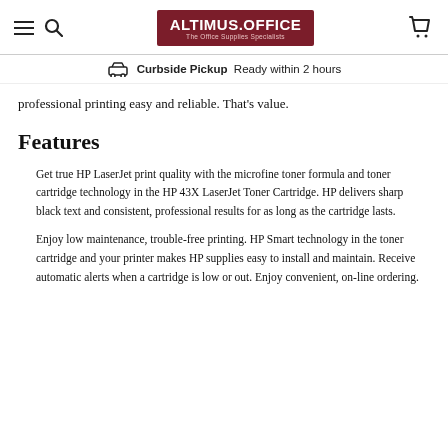ALTIMUS.OFFICE — The Office Supplies Specialists
Curbside Pickup  Ready within 2 hours
professional printing easy and reliable. That's value.
Features
Get true HP LaserJet print quality with the microfine toner formula and toner cartridge technology in the HP 43X LaserJet Toner Cartridge. HP delivers sharp black text and consistent, professional results for as long as the cartridge lasts.
Enjoy low maintenance, trouble-free printing. HP Smart technology in the toner cartridge and your printer makes HP supplies easy to install and maintain. Receive automatic alerts when a cartridge is low or out. Enjoy convenient, on-line ordering.